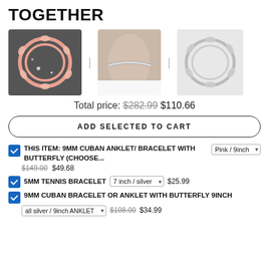TOGETHER
[Figure (photo): Three jewelry product photos: a pink Cuban butterfly anklet/bracelet on dark background, a silver tennis bracelet on a wrist, and a silver Cuban butterfly bracelet on white background]
Total price: $282.99 $110.66
ADD SELECTED TO CART
THIS ITEM: 9MM CUBAN ANKLET/ BRACELET WITH BUTTERFLY (CHOOSE... Pink / 9inch $149.00 $49.68
5MM TENNIS BRACELET 7 inch / silver $25.99
9MM CUBAN BRACELET OR ANKLET WITH BUTTERFLY 9INCH all silver / 9inch ANKLET $108.00 $34.99